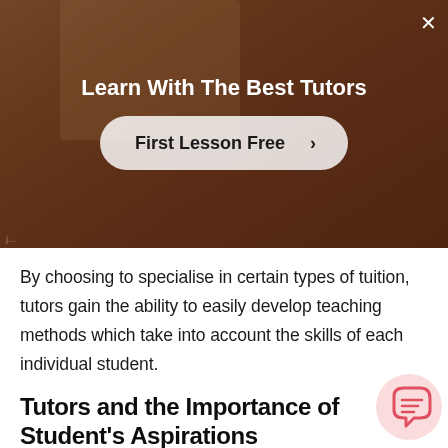[Figure (screenshot): Modal overlay on a tutoring website showing a teacher in a classroom. White bold text 'Learn With The Best Tutors' and a frosted pill-shaped button 'First Lesson Free >' with a close X button in top right corner.]
Learn With The Best Tutors
First Lesson Free >
By choosing to specialise in certain types of tuition, tutors gain the ability to easily develop teaching methods which take into account the skills of each individual student.
Tutors and the Importance of Student's Aspirations